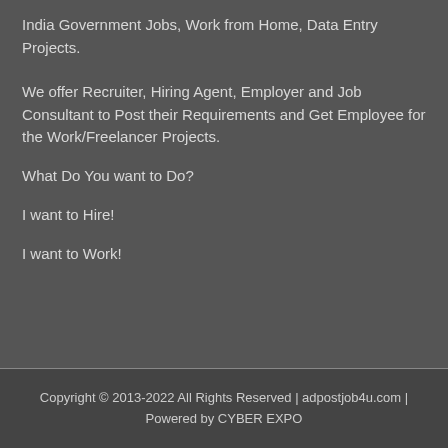India Government Jobs, Work from Home, Data Entry Projects.
We offer Recruiter, Hiring Agent, Employer and Job Consultant to Post their Requirements and Get Employee for the Work/Freelancer Projects.
What Do You want to Do?
I want to Hire!
I want to Work!
Copyright © 2013-2022 All Rights Reserved | adpostjob4u.com | Powered by CYBER EXPO